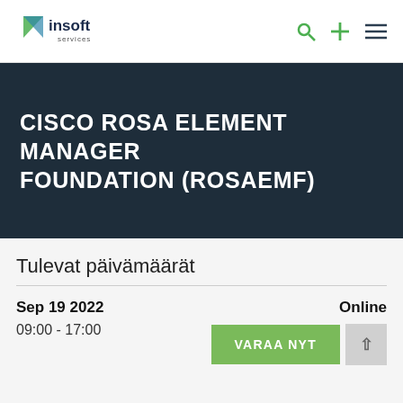Insoft Services
CISCO ROSA ELEMENT MANAGER FOUNDATION (ROSAEMF)
Tulevat päivämäärät
Sep 19 2022
09:00 - 17:00
Online
VARAA NYT